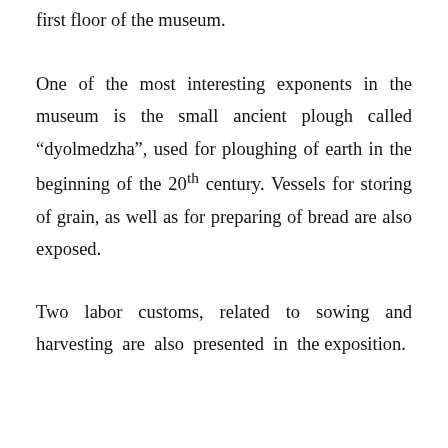first floor of the museum.
One of the most interesting exponents in the museum is the small ancient plough called “dyolmedzha”, used for ploughing of earth in the beginning of the 20th century. Vessels for storing of grain, as well as for preparing of bread are also exposed.
Two labor customs, related to sowing and harvesting are also presented in the exposition.